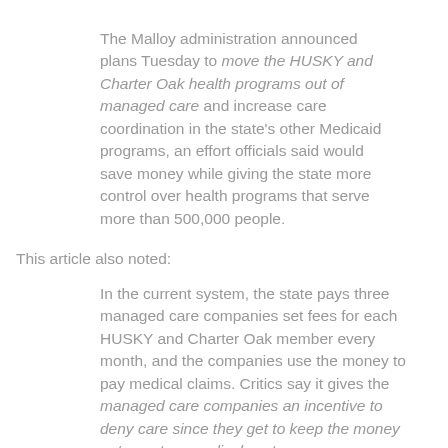The Malloy administration announced plans Tuesday to move the HUSKY and Charter Oak health programs out of managed care and increase care coordination in the state's other Medicaid programs, an effort officials said would save money while giving the state more control over health programs that serve more than 500,000 people.
This article also noted:
In the current system, the state pays three managed care companies set fees for each HUSKY and Charter Oak member every month, and the companies use the money to pay medical claims. Critics say it gives the managed care companies an incentive to deny care since they get to keep the money not spent on medical costs.